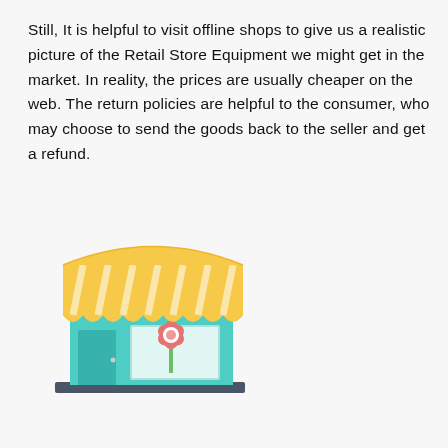Still, It is helpful to visit offline shops to give us a realistic picture of the Retail Store Equipment we might get in the market. In reality, the prices are usually cheaper on the web. The return policies are helpful to the consumer, who may choose to send the goods back to the seller and get a refund.
[Figure (illustration): A colorful flat illustration of a small retail shop with a yellow and white striped awning, teal/mint colored walls, a teal door on the left, a display window on the right showing a red flower, and a dark gray base/ground.]